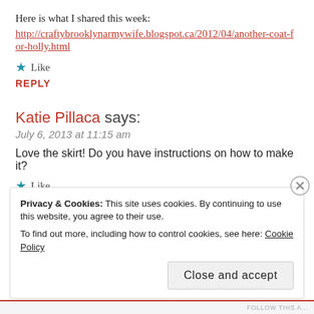Here is what I shared this week:
http://craftybrooklynarmywife.blogspot.ca/2012/04/another-coat-for-holly.html
★ Like
REPLY
Katie Pillaca says:
July 6, 2013 at 11:15 am
Love the skirt! Do you have instructions on how to make it?
★ Like
REPLY
Privacy & Cookies: This site uses cookies. By continuing to use this website, you agree to their use. To find out more, including how to control cookies, see here: Cookie Policy
Close and accept